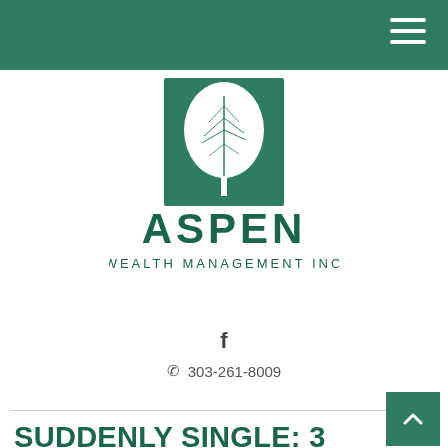Aspen Wealth Management Inc navigation bar
[Figure (logo): Aspen Wealth Management Inc logo — green square with white aspen leaf, text ASPEN WEALTH MANAGEMENT INC in dark green]
f
303-261-8009
SUDDENLY SINGLE: 3 STEPS TO TAKE NOW